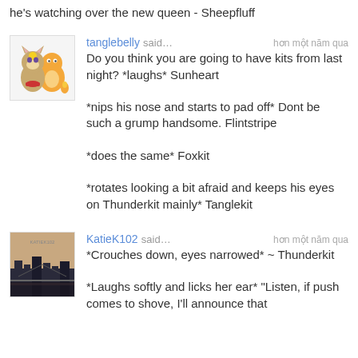he's watching over the new queen - Sheepfluff
tanglebelly said… hơn một năm qua
Do you think you are going to have kits from last night? *laughs* Sunheart

*nips his nose and starts to pad off* Dont be such a grump handsome. Flintstripe

*does the same* Foxkit

*rotates looking a bit afraid and keeps his eyes on Thunderkit mainly* Tanglekit
KatieK102 said… hơn một năm qua
*Crouches down, eyes narrowed* ~ Thunderkit

*Laughs softly and licks her ear* "Listen, if push comes to shove, I'll announce that